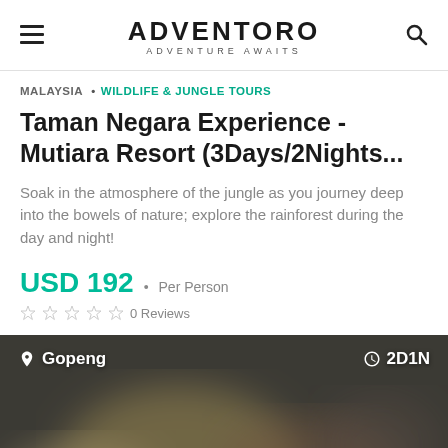ADVENTORO — ADVENTURE AWAITS
MALAYSIA • WILDLIFE & JUNGLE TOURS
Taman Negara Experience - Mutiara Resort (3Days/2Nights...
Soak in the atmosphere of the jungle as you journey deep into the bowels of nature; explore the rainforest during the day and night!
USD 192 • Per Person
0 Reviews
[Figure (photo): Blurred outdoor/nature photo with location label 'Gopeng' and duration label '2D1N']